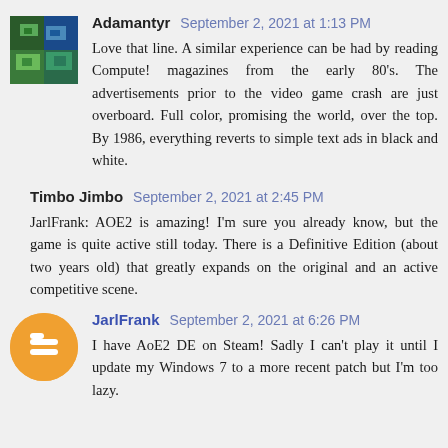Adamantyr  September 2, 2021 at 1:13 PM
Love that line. A similar experience can be had by reading Compute! magazines from the early 80's. The advertisements prior to the video game crash are just overboard. Full color, promising the world, over the top. By 1986, everything reverts to simple text ads in black and white.
Timbo Jimbo  September 2, 2021 at 2:45 PM
JarlFrank: AOE2 is amazing! I'm sure you already know, but the game is quite active still today. There is a Definitive Edition (about two years old) that greatly expands on the original and an active competitive scene.
JarlFrank  September 2, 2021 at 6:26 PM
I have AoE2 DE on Steam! Sadly I can't play it until I update my Windows 7 to a more recent patch but I'm too lazy.